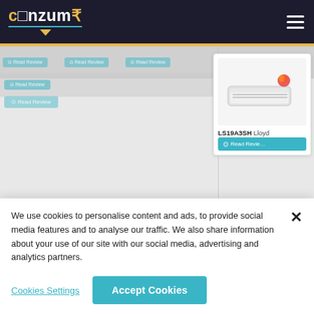Conzumr - header navigation bar with logo and hamburger menu
[Figure (screenshot): Conzumr website showing product review cards with 'Read Review' buttons and a Lloyd LS19A3SH air conditioner product card on the right side, partially visible behind a cookie consent overlay]
We use cookies to personalise content and ads, to provide social media features and to analyse our traffic. We also share information about your use of our site with our social media, advertising and analytics partners.
Cookies Settings
Accept Cookies